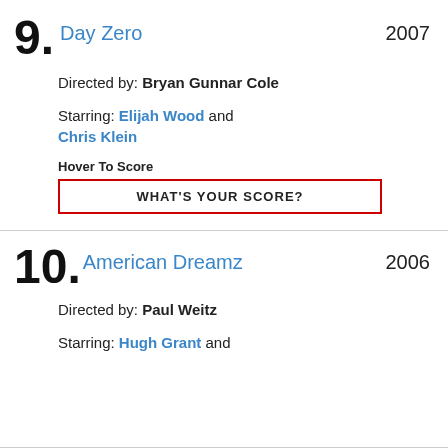9. Day Zero 2007 Directed by: Bryan Gunnar Cole Starring: Elijah Wood and Chris Klein
Hover To Score
WHAT'S YOUR SCORE?
10. American Dreamz 2006 Directed by: Paul Weitz Starring: Hugh Grant and